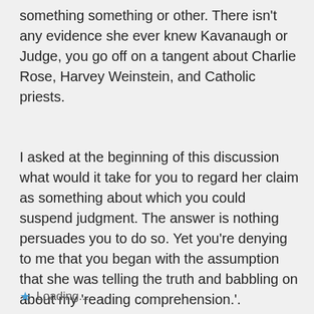something something or other. There isn't any evidence she ever knew Kavanaugh or Judge, you go off on a tangent about Charlie Rose, Harvey Weinstein, and Catholic priests.
I asked at the beginning of this discussion what would it take for you to regard her claim as something about which you could suspend judgment. The answer is nothing persuades you to do so. Yet you're denying to me that you began with the assumption that she was telling the truth and babbling on about my 'reading comprehension.'.
Loading...